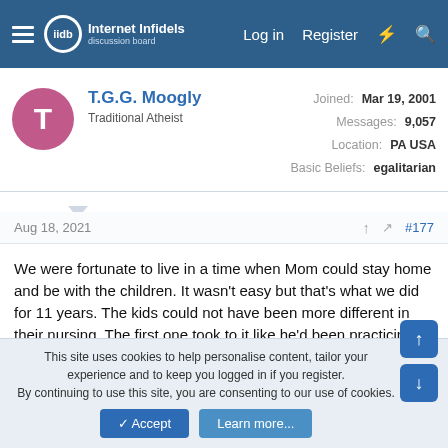Internet Infidels — Log in   Register
T.G.G. Moogly
Traditional Atheist
Joined: Mar 19, 2001
Messages: 9,057
Location: PA USA
Basic Beliefs: egalitarian
Aug 18, 2021  #177
We were fortunate to live in a time when Mom could stay home and be with the children. It wasn't easy but that's what we did for 11 years. The kids could not have been more different in their nursing. The first one took to it like he'd been practicing for months. The second treated the nipple like a lollipop and it took a while before he learned to latch on. But there were no bottles ever, could not have been easier. We were very familiar with Natural childbirth and Le Leche.
This site uses cookies to help personalise content, tailor your experience and to keep you logged in if you register.
By continuing to use this site, you are consenting to our use of cookies.